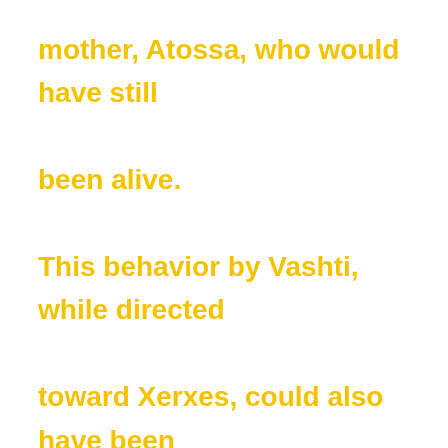mother, Atossa, who would have still been alive. This behavior by Vashti, while directed toward Xerxes, could also have been directed toward Atossa in an attempt to replace her as the most powerful woman of the kingdom.